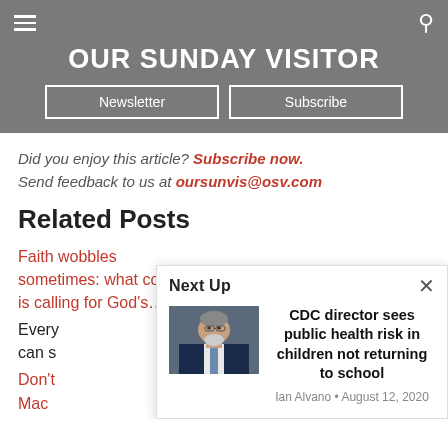OUR SUNDAY VISITOR
Did you enjoy this article? Subscribe now.
Send feedback to us at oursunvis@osv.com
Related Posts
Faith wobbles sometimes: what counts is calling for God's…
Every… can s…
Don't… Mac…
[Figure (photo): Next Up overlay showing CDC director article with photo of a man in suit with gray beard. Article title: CDC director sees public health risk in children not returning to school. Byline: Ian Alvano • August 12, 2020]